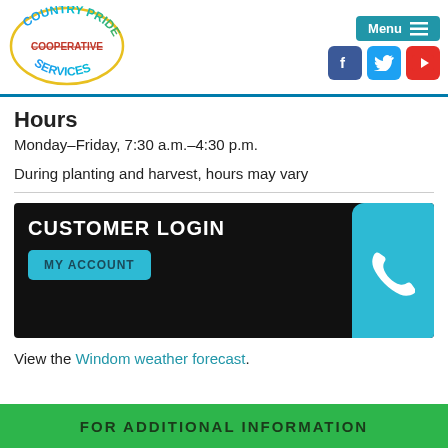[Figure (logo): Country Pride Cooperative Services logo with colorful stylized text]
Hours
Monday–Friday, 7:30 a.m.–4:30 p.m.
During planting and harvest, hours may vary
[Figure (screenshot): Customer Login banner with MY ACCOUNT button and phone icon]
View the Windom weather forecast.
FOR ADDITIONAL INFORMATION